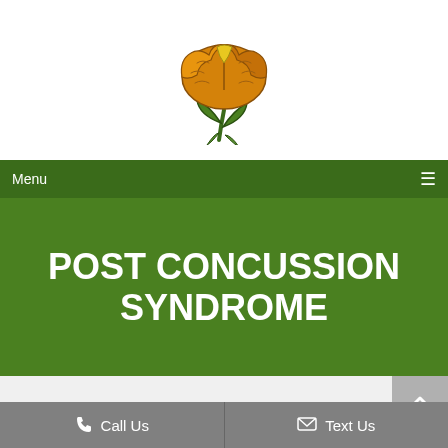[Figure (logo): Brain-shaped flower logo with orange brain on top of green leaves/stem, used as site logo for Post Concussion Syndrome website]
Menu ≡
POST CONCUSSION SYNDROME
Call Us
Text Us